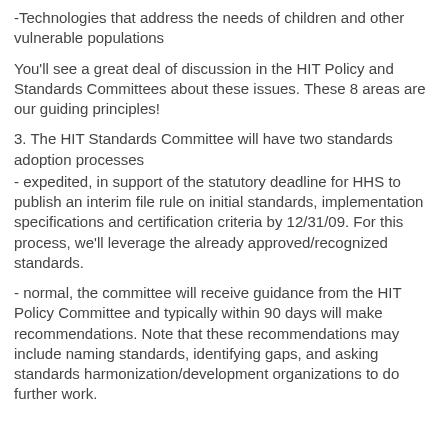-Technologies that address the needs of children and other vulnerable populations
You'll see a great deal of discussion in the HIT Policy and Standards Committees about these issues. These 8 areas are our guiding principles!
3. The HIT Standards Committee will have two standards adoption processes
- expedited, in support of the statutory deadline for HHS to publish an interim file rule on initial standards, implementation specifications and certification criteria by 12/31/09. For this process, we'll leverage the already approved/recognized standards.
- normal, the committee will receive guidance from the HIT Policy Committee and typically within 90 days will make recommendations. Note that these recommendations may include naming standards, identifying gaps, and asking standards harmonization/development organizations to do further work.